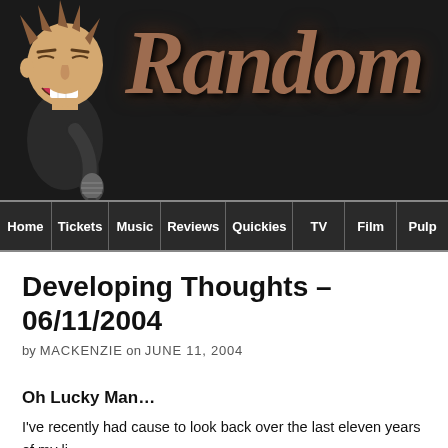[Figure (illustration): Blog website header banner with a cartoon illustration of a man shouting into a microphone on the left, and stylized grunge-style text reading 'Random' on a dark background on the right.]
Home | Tickets | Music | Reviews | Quickies | TV | Film | Pulp
Developing Thoughts – 06/11/2004
by MACKENZIE on JUNE 11, 2004
Oh Lucky Man…
I've recently had cause to look back over the last eleven years of my li… when you embark on such a reflective journey the gems and turds you… surprise you. Fortunately for me, my introspection turned up far mo…